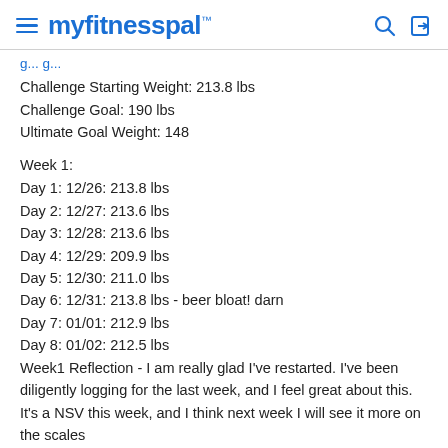myfitnesspal
Challenge Starting Weight: 213.8 lbs
Challenge Goal: 190 lbs
Ultimate Goal Weight: 148
Week 1:
Day 1: 12/26: 213.8 lbs
Day 2: 12/27: 213.6 lbs
Day 3: 12/28: 213.6 lbs
Day 4: 12/29: 209.9 lbs
Day 5: 12/30: 211.0 lbs
Day 6: 12/31: 213.8 lbs - beer bloat! darn
Day 7: 01/01: 212.9 lbs
Day 8: 01/02: 212.5 lbs
Week1 Reflection - I am really glad I've restarted. I've been diligently logging for the last week, and I feel great about this. It's a NSV this week, and I think next week I will see it more on the scales